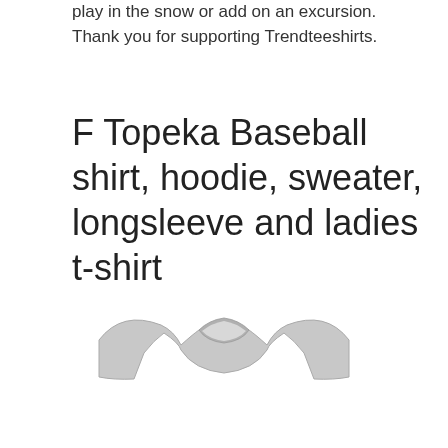play in the snow or add on an excursion. Thank you for supporting Trendteeshirts.
F Topeka Baseball shirt, hoodie, sweater, longsleeve and ladies t-shirt
[Figure (photo): A light grey t-shirt shown from the front, folded flat, displaying the collar and shoulder area. The shirt appears plain with no visible graphics.]